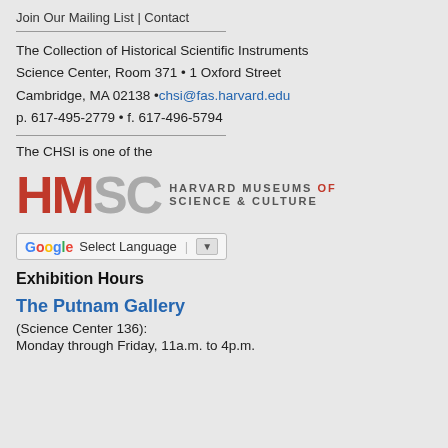Join Our Mailing List | Contact
The Collection of Historical Scientific Instruments
Science Center, Room 371 • 1 Oxford Street
Cambridge, MA 02138 • chsi@fas.harvard.edu
p. 617-495-2779 • f. 617-496-5794
The CHSI is one of the
[Figure (logo): HMSC Harvard Museums of Science & Culture logo with red HM letters, grey SC letters, and text HARVARD MUSEUMS OF SCIENCE & CULTURE]
[Figure (screenshot): Google Translate widget with G icon, Select Language text and dropdown arrow]
Exhibition Hours
The Putnam Gallery
(Science Center 136):
Monday through Friday, 11a.m. to 4p.m.